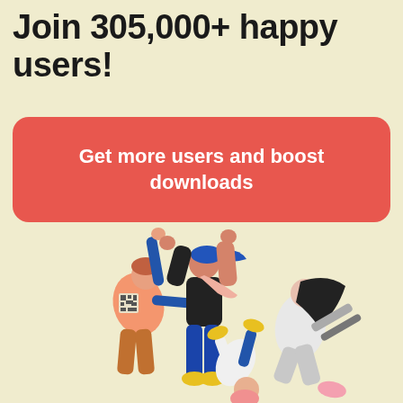Join 305,000+ happy users!
Get more users and boost downloads
[Figure (illustration): Illustration of three people celebrating — one doing a handstand, one raising both arms, and one holding something, all in a cheerful pose with colorful clothing on a beige background.]